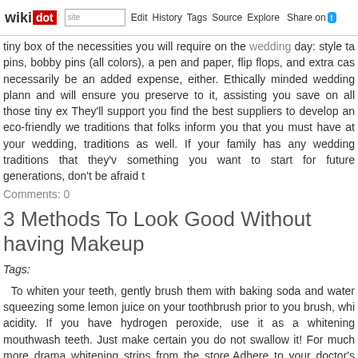wikidot | site | Edit | History | Tags | Source | Explore | Share on
tiny box of the necessities you will require on the wedding day: style tape, bobby pins (all colors), a pen and paper, flip flops, and extra cash. doesn't necessarily be an added expense, either. Ethically minded wedding planners and will ensure you preserve to it, assisting you save on all those tiny expenses. They'll support you find the best suppliers to develop an eco-friendly we traditions that folks inform you that you must have at your wedding, traditions as well. If your family has any wedding traditions that they've something you want to start for future generations, don't be afraid to
Comments: 0
3 Methods To Look Good Without having Makeup
Tags:
To whiten your teeth, gently brush them with baking soda and water squeezing some lemon juice on your toothbrush prior to you brush, which acidity. If you have hydrogen peroxide, use it as a whitening mouthwash teeth. Just make certain you do not swallow it! For much more drama whitening strips from the store.Adhere to your doctor's guidelines. Take a any doses. By undertaking this, you make sure that your "viral load" in y your physique healthier and minimize the chance of infecting those abo celebration in the UK, and it is effortless to see why. Some well being ins do not cover braces. Verify with your overall health insurance coverage p of-pocket expenses. Remember to drink plenty of water to flush out your avoid you from feeling bloated.There is been a lot of hype about the anci for 20 minutes, which is believed to kill bacteria and make teeth whiter you have lost the crown, you can coat the tooth surface with an more th several pharmacies) to temporarily seal the region till a dentist can rep